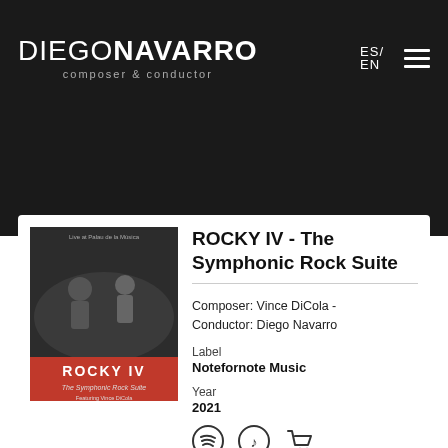DIEGO NAVARRO composer & conductor | ES / EN
[Figure (photo): Album cover for ROCKY IV - The Symphonic Rock Suite, featuring two conductors on stage with text and orchestra audience]
ROCKY IV - The Symphonic Rock Suite
Composer: Vince DiCola - Conductor: Diego Navarro
Label
Notefornote Music
Year
2021